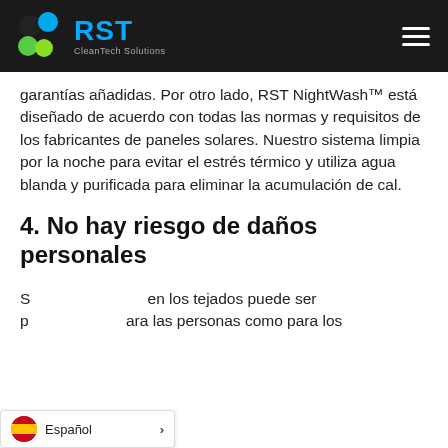RST CleanTech Solutions
garantías añadidas. Por otro lado, RST NightWash™ está diseñado de acuerdo con todas las normas y requisitos de los fabricantes de paneles solares. Nuestro sistema limpia por la noche para evitar el estrés térmico y utiliza agua blanda y purificada para eliminar la acumulación de cal.
4. No hay riesgo de daños personales
Subir a los tejados puede ser peligroso tanto para las personas como para los